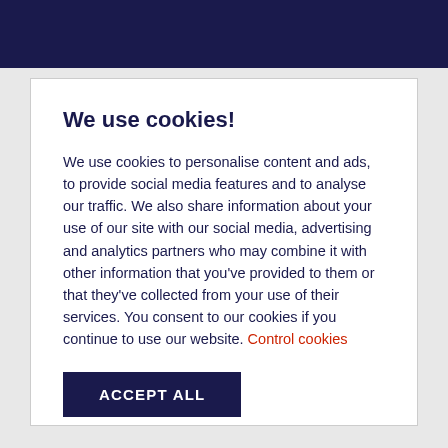We use cookies!
We use cookies to personalise content and ads, to provide social media features and to analyse our traffic. We also share information about your use of our site with our social media, advertising and analytics partners who may combine it with other information that you've provided to them or that they've collected from your use of their services. You consent to our cookies if you continue to use our website. Control cookies
ACCEPT ALL